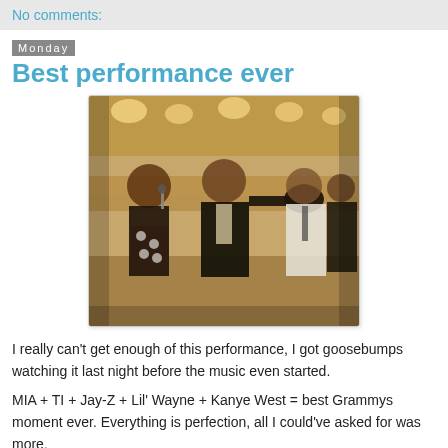No comments:
Monday
Best performance ever
[Figure (photo): Sepia-toned concert photo of performers on stage including a woman singing into a microphone on the left, a man in a suit holding a hat in the center, and others in formal attire on the right, with stage lighting in the background.]
I really can't get enough of this performance, I got goosebumps watching it last night before the music even started.
MIA + TI + Jay-Z + Lil' Wayne + Kanye West = best Grammys moment ever. Everything is perfection, all I could've asked for was more.